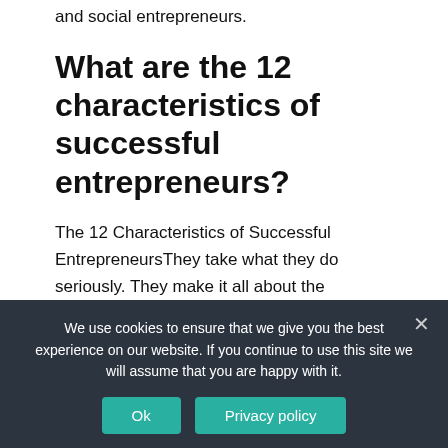and social entrepreneurs.
What are the 12 characteristics of successful entrepreneurs?
The 12 Characteristics of Successful EntrepreneursThey take what they do seriously. They make it all about the customer. They make the big decisions carefully. They aren't scared of the road less traveled. They harness technology. They invest in themselves. They
We use cookies to ensure that we give you the best experience on our website. If you continue to use this site we will assume that you are happy with it.